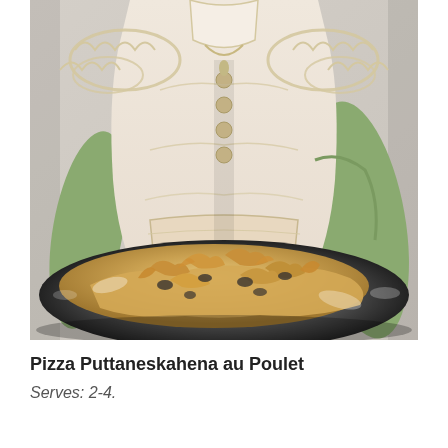[Figure (photo): A woman wearing an ornate cream and green elaborately decorated traditional/theatrical costume with lace trim and embroidery, standing behind a dark ceramic bowl containing a pizza or baked dish with golden-brown toppings and olives.]
Pizza Puttaneskahena au Poulet
Serves: 2-4.